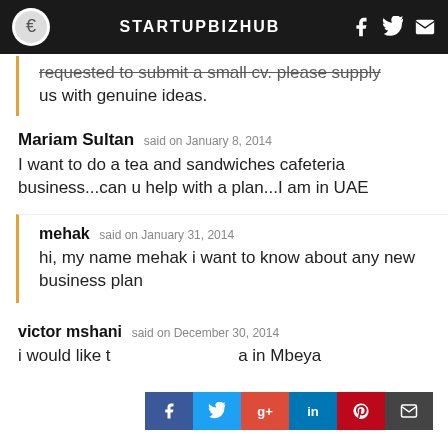STARTUPBIZHUB
requested to submit a small cv. please supply us with genuine ideas.
Mariam Sultan said on January 8, 2014
I want to do a tea and sandwiches cafeteria business...can u help with a plan...I am in UAE
mehak said on January 31, 2014
hi, my name mehak i want to know about any new business plan
victor mshani said on December 30, 2014
i would like t...a in Mbeya